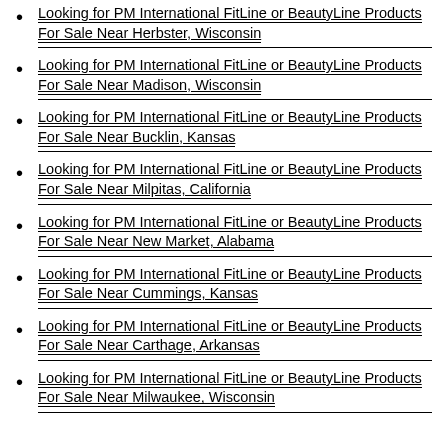Looking for PM International FitLine or BeautyLine Products For Sale Near Herbster, Wisconsin
Looking for PM International FitLine or BeautyLine Products For Sale Near Madison, Wisconsin
Looking for PM International FitLine or BeautyLine Products For Sale Near Bucklin, Kansas
Looking for PM International FitLine or BeautyLine Products For Sale Near Milpitas, California
Looking for PM International FitLine or BeautyLine Products For Sale Near New Market, Alabama
Looking for PM International FitLine or BeautyLine Products For Sale Near Cummings, Kansas
Looking for PM International FitLine or BeautyLine Products For Sale Near Carthage, Arkansas
Looking for PM International FitLine or BeautyLine Products For Sale Near Milwaukee, Wisconsin